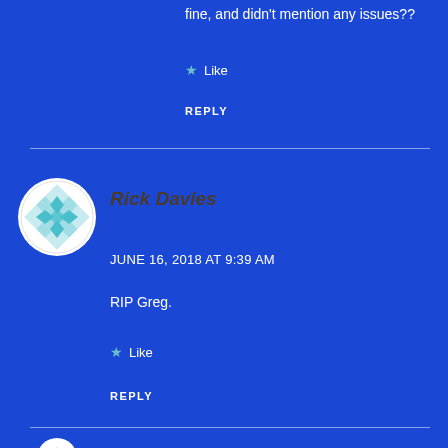fine, and didn't mention any issues??
Like
REPLY
Rick Davies
JUNE 16, 2018 AT 9:39 AM
RIP Greg.
Like
REPLY